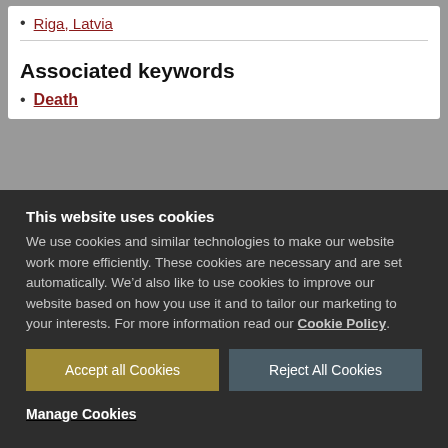Riga, Latvia
Associated keywords
Death
This website uses cookies
We use cookies and similar technologies to make our website work more efficiently. These cookies are necessary and are set automatically. We’d also like to use cookies to improve our website based on how you use it and to tailor our marketing to your interests. For more information read our Cookie Policy.
Accept all Cookies
Reject All Cookies
Manage Cookies